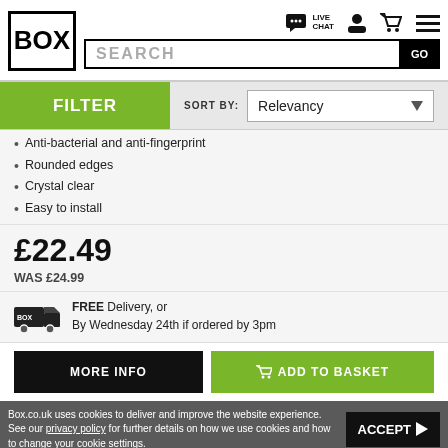BOX — LIVE CHAT, account, cart, menu. SEARCH [GO]
FILTER | SORT BY: Relevancy
Anti-bacterial and anti-fingerprint
Rounded edges
Crystal clear
Easy to install
£22.49
WAS £24.99
FREE Delivery, or
By Wednesday 24th if ordered by 3pm
MORE INFO | ADD TO BASKET
Box.co.uk uses cookies to deliver and improve the website experience. See our privacy policy for further details on how we use cookies and how to change your cookie settings. ACCEPT